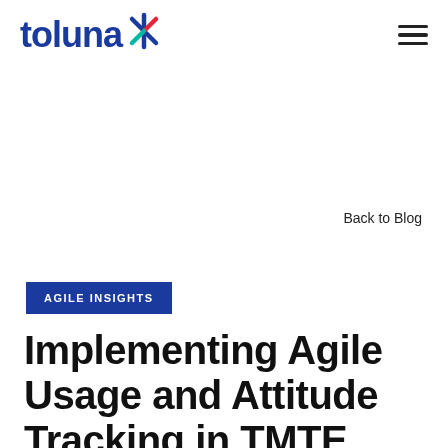[Figure (logo): Toluna logo with colorful asterisk star icon in blue, red, and green]
Back to Blog
AGILE INSIGHTS
Implementing Agile Usage and Attitude Tracking in TMTE